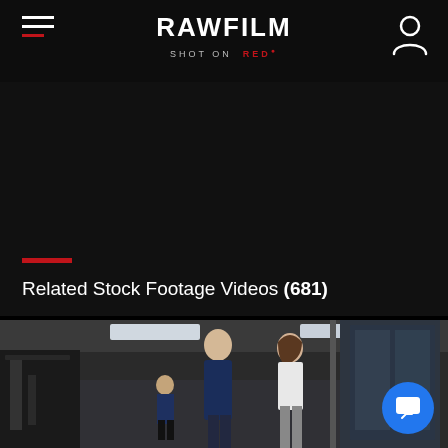RAWFILM — SHOT ON RED
Related Stock Footage Videos (681)
[Figure (photo): Gym interior with two people walking and talking, fitness equipment visible in background. Man in dark blue shirt walking alongside woman in white top and grey pants.]